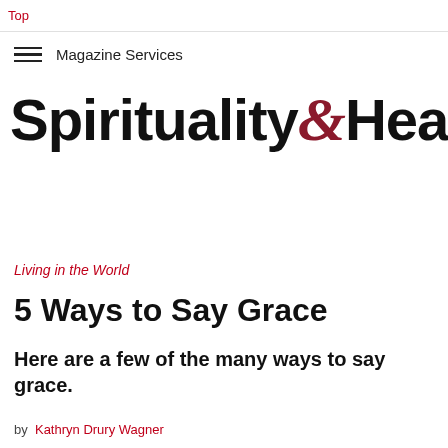Top
Magazine Services
Spirituality & Health
Living in the World
5 Ways to Say Grace
Here are a few of the many ways to say grace.
by Kathryn Drury Wagner